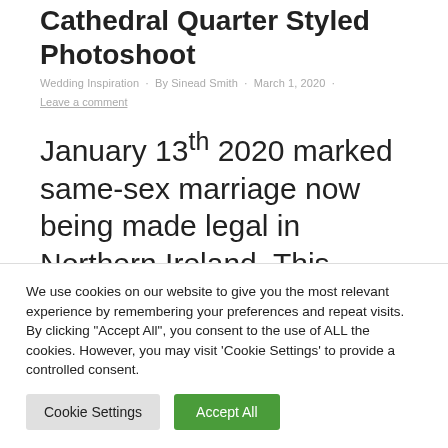Cathedral Quarter Styled Photoshoot
Wedding Inspiration · By Sinead Smith · March 1, 2020 ·
Leave a comment
January 13th 2020 marked same-sex marriage now being made legal in Northern Ireland. This legislation marked an enormous step forward for the LGBT community after years of
We use cookies on our website to give you the most relevant experience by remembering your preferences and repeat visits. By clicking "Accept All", you consent to the use of ALL the cookies. However, you may visit 'Cookie Settings' to provide a controlled consent.
Cookie Settings
Accept All